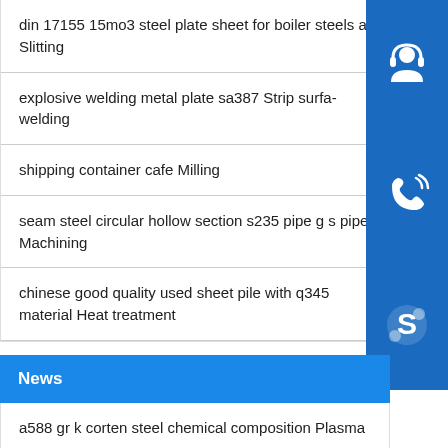din 17155 15mo3 steel plate sheet for boiler steels at Slitting
explosive welding metal plate sa387 Strip surface welding
[Figure (illustration): Three blue square icon buttons stacked vertically on the right: headset/customer support icon, phone with signal waves icon, Skype logo icon]
shipping container cafe Milling
seam steel circular hollow section s235 pipe g s pipe Machining
chinese good quality used sheet pile with q345 material Heat treatment
News
a588 gr k corten steel chemical composition Plasma